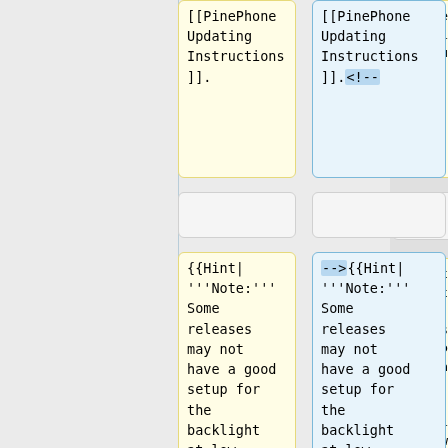[Figure (screenshot): Diff view showing two side-by-side columns of wiki markup. Left column (yellow) and right column (blue) show code comparison. Top boxes show [[PinePhone Updating Instructions]]. with left ending in period and right ending in period followed by highlighted comment marker <!--. Middle empty boxes. Then yellow box with {{Hint|'''Note:''' Some releases may not have a good setup for the backlight at low brightness. and blue box with -->{{Hint|'''Note:''' Some releases may not have a good setup for the backlight at low brightness. Bottom boxes show If configured too low, the backlight text in both columns.]